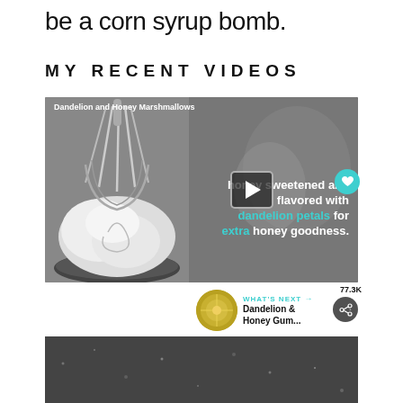be a corn syrup bomb.
MY RECENT VIDEOS
[Figure (screenshot): Embedded video player showing Dandelion and Honey Marshmallows recipe video. Left side shows a black and white photo of a whisk mixing fluffy white marshmallow mixture in a bowl. Right side shows text overlay reading 'honey sweetened and flavored with dandelion petals for extra honey goodness.' A play button is centered over the divide. A teal heart icon and share icon appear on the right edge with 77.3K count. A 'What's Next' bar shows thumbnail for Dandelion & Honey Gum...]
[Figure (photo): Bottom portion of a dark speckled surface photo, partially visible at the bottom of the page.]